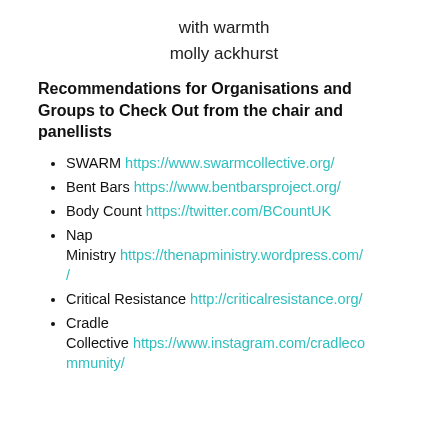with warmth
molly ackhurst
Recommendations for Organisations and Groups to Check Out from the chair and panellists
SWARM https://www.swarmcollective.org/
Bent Bars https://www.bentbarsproject.org/
Body Count https://twitter.com/BCountUK
Nap Ministry https://thenapministry.wordpress.com/
Critical Resistance http://criticalresistance.org/
Cradle Collective https://www.instagram.com/cradlecommunity/